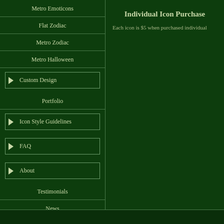Metro Emoticons
Flat Zodiac
Metro Zodiac
Metro Halloween
▶ Custom Design
Portfolio
▶ Icon Style Guidelines
▶ FAQ
▶ About
Testimonials
News
▶ Search
Individual Icon Purchase
Each icon is $5 when purchased individual